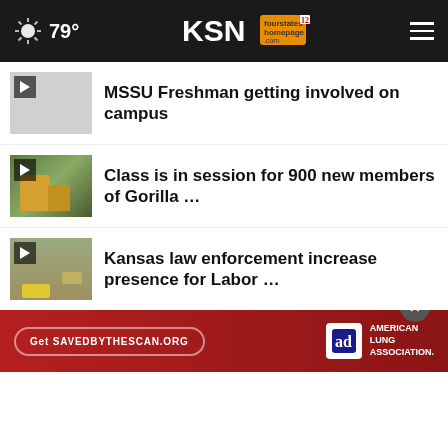79° KSN fourstates homepage.com 12
MSSU Freshman getting involved on campus
Class is in session for 900 new members of Gorilla …
Kansas law enforcement increase presence for Labor …
More Stories ›
[Figure (advertisement): American Lung Association ad with Get SAVEDBYTHESCAN.ORG button and Ad Council logo]